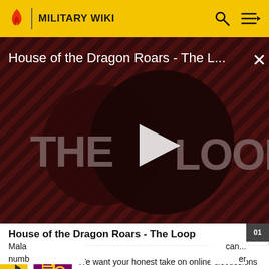MILITARY WIKI
[Figure (screenshot): Video thumbnail for 'House of the Dragon Roars - The L...' showing THE LOOP title card with diagonal stripe background in dark red and brown tones, with a play button in the center]
House of the Dragon Roars - The Loop
Mala... numb... accid...   can... er  eral
[Figure (screenshot): Survey banner with yellow sidebar, right arrow, survey icon image, text 'We want your honest take on online discussions' and 'SURVEY: ONLINE FORUMS' link]